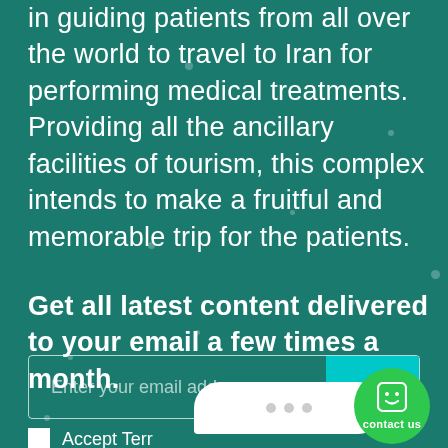in guiding patients from all over the world to travel to Iran for performing medical treatments. Providing all the ancillary facilities of tourism, this complex intends to make a fruitful and memorable trip for the patients.
Get all latest content delivered to your email a few times a month.
Enter your email address
SEND
Accept Terr...
[Figure (other): Chat bubble with three dots and a circular green contact us button with smiley face icon]